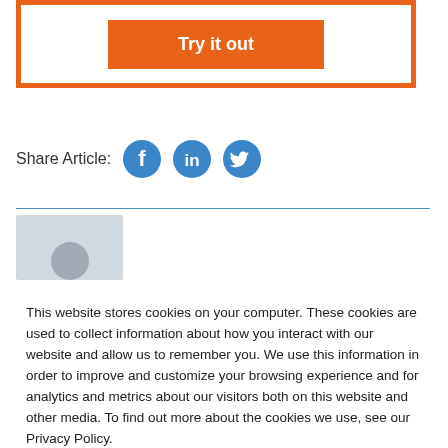[Figure (other): Orange bordered box with a 'Try it out' button in orange with white text]
Share Article:
[Figure (other): Three circular social media icons: Facebook, LinkedIn, Twitter in blue]
[Figure (other): Author placeholder image with grey background and avatar silhouette]
This website stores cookies on your computer. These cookies are used to collect information about how you interact with our website and allow us to remember you. We use this information in order to improve and customize your browsing experience and for analytics and metrics about our visitors both on this website and other media. To find out more about the cookies we use, see our Privacy Policy.
[Figure (other): Orange 'Accept' button with white text and rounded corners]